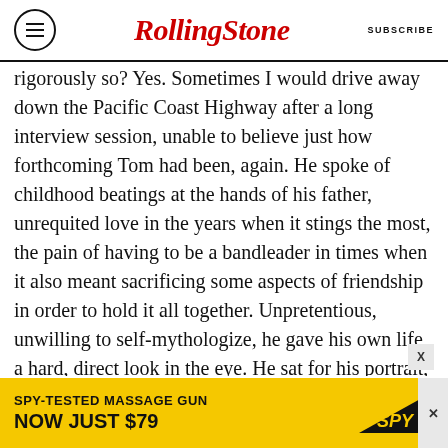Rolling Stone | SUBSCRIBE
rigorously so? Yes. Sometimes I would drive away down the Pacific Coast Highway after a long interview session, unable to believe just how forthcoming Tom had been, again. He spoke of childhood beatings at the hands of his father, unrequited love in the years when it stings the most, the pain of having to be a bandleader in times when it also meant sacrificing some aspects of friendship in order to hold it all together. Unpretentious, unwilling to self-mythologize, he gave his own life a hard, direct look in the eye. He sat for his portrait, not always happy with the results, but did what he needed to do to let the truth out of his house and into the world. I was
[Figure (other): Advertisement banner: SPY-TESTED MASSAGE GUN NOW JUST $79 with SPY logo on yellow background]